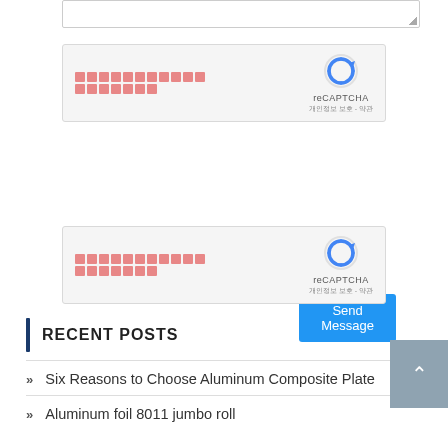[Figure (screenshot): Textarea input box with resize handle at bottom right]
[Figure (screenshot): reCAPTCHA widget box with red block pattern on left and reCAPTCHA logo/label on right]
Send Message
[Figure (screenshot): Second reCAPTCHA widget box with red block pattern on left and reCAPTCHA logo/label on right]
RECENT POSTS
Six Reasons to Choose Aluminum Composite Plate
Aluminum foil 8011 jumbo roll